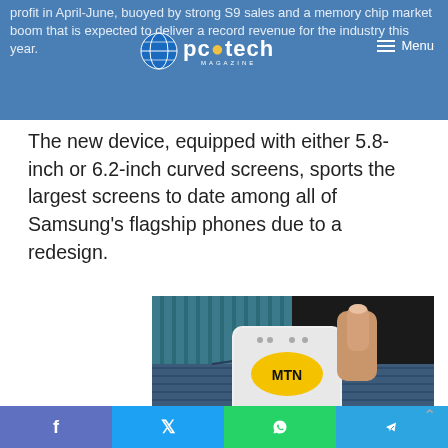profit in April-June, buoyed by strong S9 sales and a memory chip market boom that is expected to deliver record revenue for the industry this year.
The new device, equipped with either 5.8-inch or 6.2-inch curved screens, sports the largest screens to date among all of Samsung's flagship phones due to a redesign.
[Figure (photo): MTN Wakanet device being held and inserted into a jeans pocket, with a yellow banner below reading 'Wakanet. Now in your pocket']
f  t  WhatsApp  Telegram social share buttons